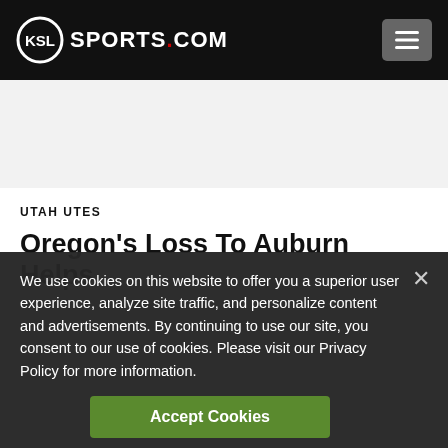KSL SPORTS.COM
UTAH UTES
Oregon's Loss To Auburn Helps
We use cookies on this website to offer you a superior user experience, analyze site traffic, and personalize content and advertisements. By continuing to use our site, you consent to our use of cookies. Please visit our Privacy Policy for more information.
Accept Cookies